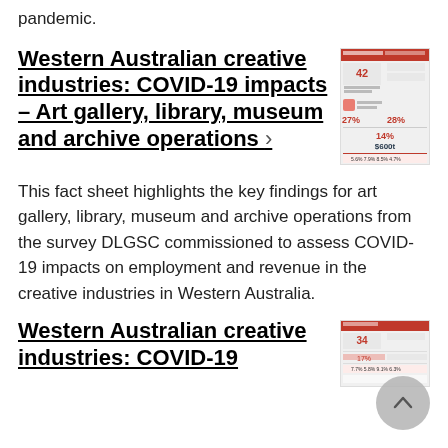pandemic.
Western Australian creative industries: COVID-19 impacts – Art gallery, library, museum and archive operations ›
[Figure (screenshot): Thumbnail image of a fact sheet document about Western Australian creative industries COVID-19 impacts for art gallery, library, museum and archive operations]
This fact sheet highlights the key findings for art gallery, library, museum and archive operations from the survey DLGSC commissioned to assess COVID-19 impacts on employment and revenue in the creative industries in Western Australia.
Western Australian creative industries: COVID-19
[Figure (screenshot): Thumbnail image of another Western Australian creative industries COVID-19 fact sheet document]